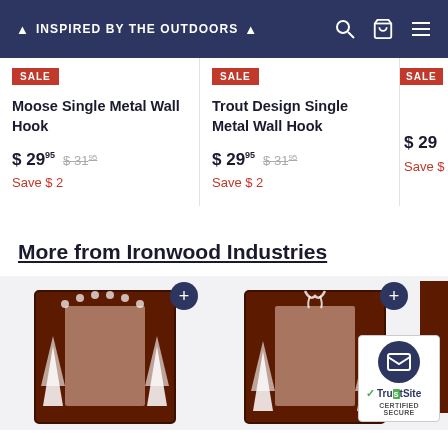🌲 Inspired by the Outdoors 🌲
SALE
Moose Single Metal Wall Hook
$ 29.95  $31.95
Save $ 2
SALE
Trout Design Single Metal Wall Hook
$ 29.95  $31.95
Save $ 2
SALE
$ 29
Save $
More from Ironwood Industries
[Figure (photo): Decorative rustic metal mirror frame with bear paw and pine tree cutouts]
[Figure (photo): Decorative rustic metal mirror frame with deer and pine tree cutouts]
[Figure (photo): Partial view of decorative metal mirror frame]